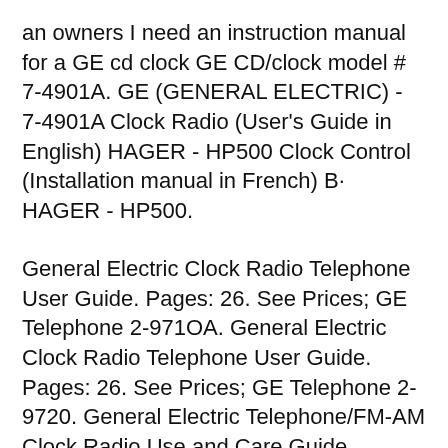an owners I need an instruction manual for a GE cd clock GE CD/clock model # 7-4901A. GE (GENERAL ELECTRIC) - 7-4901A Clock Radio (User's Guide in English) HAGER - HP500 Clock Control (Installation manual in French) B· HAGER - HP500.
General Electric Clock Radio Telephone User Guide. Pages: 26. See Prices; GE Telephone 2-9710A. General Electric Clock Radio Telephone User Guide. Pages: 26. See Prices; GE Telephone 2-9720. General Electric Telephone/FM-AM Clock Radio Use and Care Guide. General Electric Telephone User Manual. Pages: 2. See Prices; GE Telephone 25295. All General Electric radio sold